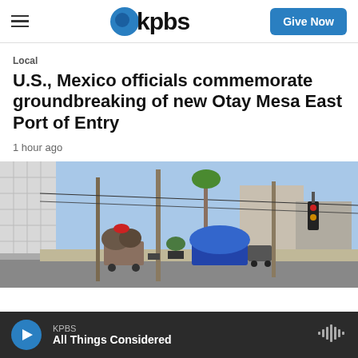KPBS — Give Now
Local
U.S., Mexico officials commemorate groundbreaking of new Otay Mesa East Port of Entry
1 hour ago
[Figure (photo): Street-level photo showing a sidewalk scene with homeless encampment items including carts with bags and a blue tarp, alongside utility poles, traffic signals, palm trees and buildings under a blue sky.]
KPBS — All Things Considered